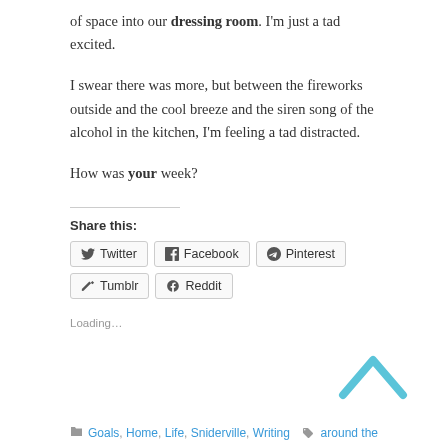of space into our dressing room. I'm just a tad excited.
I swear there was more, but between the fireworks outside and the cool breeze and the siren song of the alcohol in the kitchen, I'm feeling a tad distracted.
How was your week?
Share this:
Twitter  Facebook  Pinterest  Tumblr  Reddit
Loading...
Goals, Home, Life, Sniderville, Writing    around the